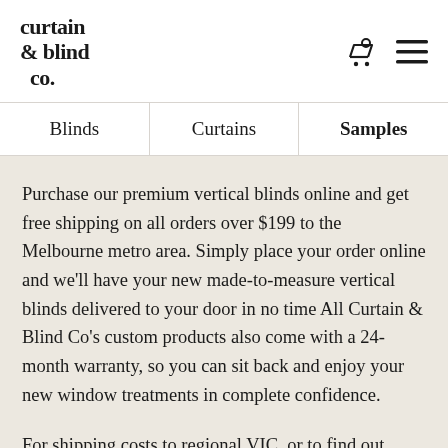curtain & blind co.
Blinds   Curtains   Samples
Purchase our premium vertical blinds online and get free shipping on all orders over $199 to the Melbourne metro area. Simply place your order online and we'll have your new made-to-measure vertical blinds delivered to your door in no time All Curtain & Blind Co's custom products also come with a 24-month warranty, so you can sit back and enjoy your new window treatments in complete confidence.
For shipping costs to regional VIC, or to find out more about our delivery and returns policy for custom